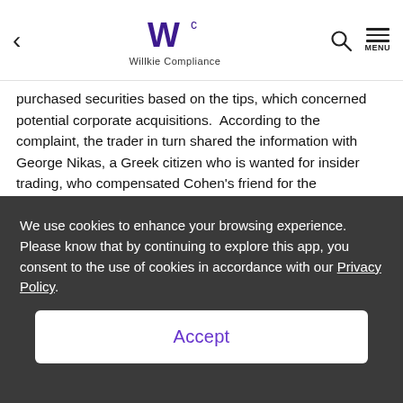Willkie Compliance
purchased securities based on the tips, which concerned potential corporate acquisitions.  According to the complaint, the trader in turn shared the information with George Nikas, a Greek citizen who is wanted for insider trading, who compensated Cohen's friend for the information.
The consent judgment permanently enjoins Cohen from violating Section 10(b) and 14(e) of the Securities Exchange Act of 1934 as well as Rule 10b-5 and 14e-3 thereunder, and
We use cookies to enhance your browsing experience. Please know that by continuing to explore this app, you consent to the use of cookies in accordance with our Privacy Policy.
Accept